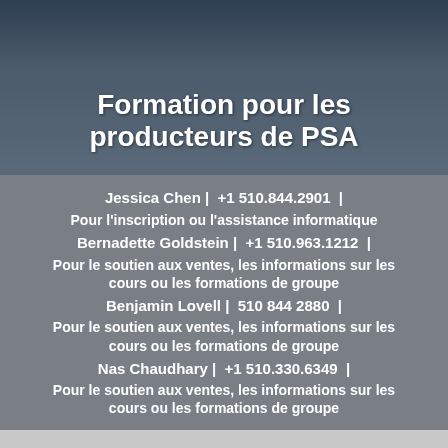[Figure (photo): Background photo of people in dark clothing with overlaid title text]
Formation pour les producteurs de PSA
Jessica Chen |  +1 510.844.2901  |
Pour l'inscription ou l'assistance informatique
Bernadette Goldstein |   +1 510.963.1212  |
Pour le soutien aux ventes, les informations sur les cours ou les formations de groupe
Benjamin Lovell |   510 844 2880  |
Pour le soutien aux ventes, les informations sur les cours ou les formations de groupe
Nas Chaudhary |   +1 510.330.6349  |
Pour le soutien aux ventes, les informations sur les cours ou les formations de groupe